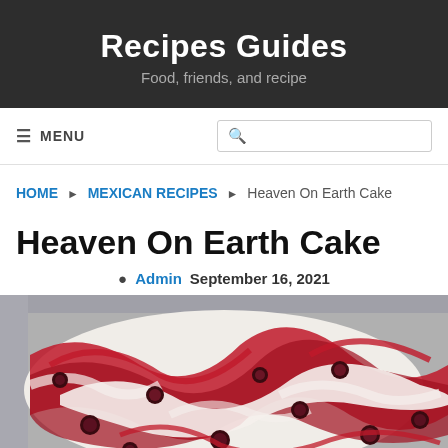Recipes Guides
Food, friends, and recipe
≡ MENU
🔍 search box
HOME ▶ MEXICAN RECIPES ▶ Heaven On Earth Cake
Heaven On Earth Cake
Admin  September 16, 2021
[Figure (photo): Close-up photo of Heaven On Earth Cake with red cherry topping swirled with white cream on a foil pan]